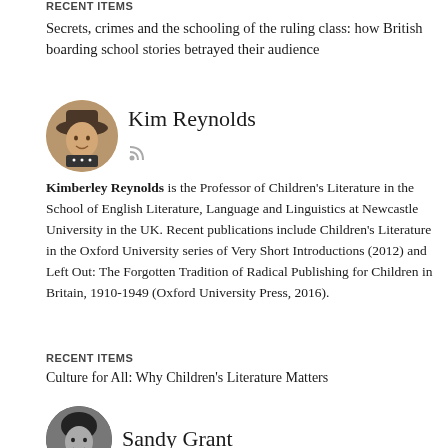RECENT ITEMS
Secrets, crimes and the schooling of the ruling class: how British boarding school stories betrayed their audience
[Figure (photo): Circular avatar photo of Kim Reynolds, a woman wearing a hat, outdoors]
Kim Reynolds
Kimberley Reynolds is the Professor of Children's Literature in the School of English Literature, Language and Linguistics at Newcastle University in the UK. Recent publications include Children's Literature in the Oxford University series of Very Short Introductions (2012) and Left Out: The Forgotten Tradition of Radical Publishing for Children in Britain, 1910-1949 (Oxford University Press, 2016).
RECENT ITEMS
Culture for All: Why Children's Literature Matters
[Figure (photo): Circular avatar photo of Sandy Grant, a woman with dark hair, black and white photo]
Sandy Grant